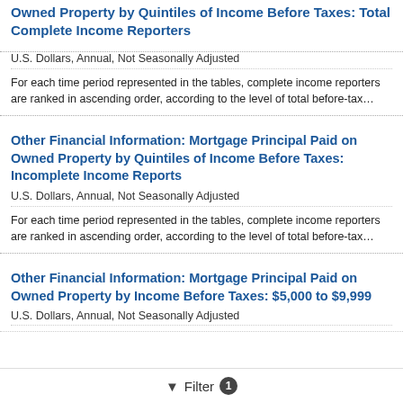Owned Property by Quintiles of Income Before Taxes: Total Complete Income Reporters
U.S. Dollars, Annual, Not Seasonally Adjusted
For each time period represented in the tables, complete income reporters are ranked in ascending order, according to the level of total before-tax…
Other Financial Information: Mortgage Principal Paid on Owned Property by Quintiles of Income Before Taxes: Incomplete Income Reports
U.S. Dollars, Annual, Not Seasonally Adjusted
For each time period represented in the tables, complete income reporters are ranked in ascending order, according to the level of total before-tax…
Other Financial Information: Mortgage Principal Paid on Owned Property by Income Before Taxes: $5,000 to $9,999
U.S. Dollars, Annual, Not Seasonally Adjusted